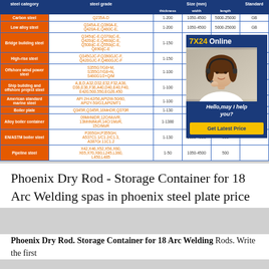| steel category | steel grade | Size (mm) |  |  | Standard |
| --- | --- | --- | --- | --- | --- |
| Carbon steel | Q235A-D | 1-200 | 1050-4500 | 5000-25000 | GB |
| Low alloy steel | Q345A-E,Q390A-E, Q420A-E,Q460C-E, | 1-200 | 1050-4500 | 5000-25000 | GB |
| Bridge building steel | Q345qC-E,Q370qC-E, Q420qC-E,Q460qC-E, Q500qC-E,Q550qC-E, Q690qC-E | 1-150 | 1050-4500 | 5000-25000 | GB |
| High-rise steel | Q345GJC-F,Q390GJC-F, Q420GJC-F,Q460GJC-F | 1-150 | 1050-4500 | 500 |  |
| Offshore wind power steel | S355G7/G8+M, S355G7/G8+N, S460G1/2+Q/M | 1-100 | 1050-4500 | 500 |  |
| Ship building and offshore project steel | A,B,D,A32,D32,E32,F32,A36, D36,E36,F36,A40,D40,E40,F40, E420,500,550,EG26,450 | 1-100 | 1050-4500 | 500 |  |
| American standard marine steel | API 2H-42/56,API2W-50/60, API2Y-50/G3,API2MT1 | 1-100 | 1050-4500 | 500 |  |
| Boiler plate | Q345R,Q345R,16MnDR,Q370R | 1-130 | 1050-4500 | 500 |  |
| Alloy boiler container | 09MnNiDR,12CrMoVR, 13MnNiMoR,14Cr1MoR, 15CrMoR | 1-1380 | 1050-4500 | 500 |  |
| EN/ASTM boiler steel | P265GH,P355GH, A537C1.1/C1.2/C1.3, A387Gr.11C1.2 | 1-130 | 1050-4500 | 500 |  |
| Pipeline steel | X42,X46,X52,X56,X60, X65,X70,X80,L245,L360, L450,L485 | 1-50 | 1050-4500 | 500 |  |
[Figure (photo): Chat overlay with 7X24 Online header, photo of woman with headset, Hello may I help you text, and Get Latest Price button]
Phoenix Dry Rod - Storage Container for 18 Arc Welding spas in phoenix steel plate price
Phoenix Dry Rod. Storage Container for 18 Arc Welding Rods. Write the first